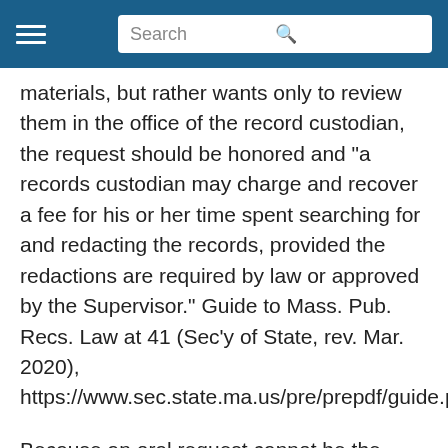Search
materials, but rather wants only to review them in the office of the record custodian, the request should be honored and “a records custodian may charge and recover a fee for his or her time spent searching for and redacting the records, provided the redactions are required by law or approved by the Supervisor.” Guide to Mass. Pub. Recs. Law at 41 (Sec’y of State, rev. Mar. 2020), https://www.sec.state.ma.us/pre/prepdf/guide.pdf.
Because an oral request cannot be the basis of an administrative or court appeal, oral